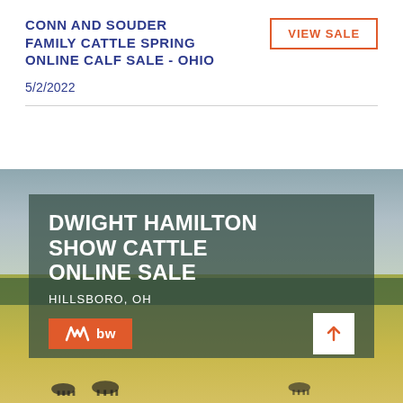CONN AND SOUDER FAMILY CATTLE SPRING ONLINE CALF SALE - OHIO
VIEW SALE
5/2/2022
[Figure (photo): Cattle sale promotional card for Dwight Hamilton Show Cattle Online Sale in Hillsboro, OH. Background shows a pastoral landscape with cattle grazing in a golden field under a cloudy sky. A dark semi-transparent overlay panel shows the sale title in large white bold uppercase text, location, and a BW branded orange button. A white square button with an orange upward arrow appears in the lower right.]